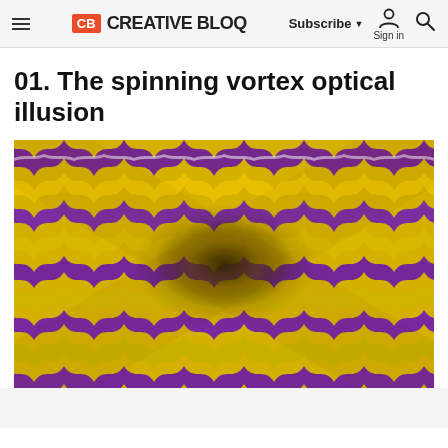CB CREATIVE BLOQ — Subscribe ▼ Sign in 🔍
01. The spinning vortex optical illusion
[Figure (illustration): A spinning vortex optical illusion image featuring interlocking purple and yellow/cream zigzag wave patterns arranged in a swirling vortex pattern that creates the illusion of rotation. The center appears to recede into a spiral.]